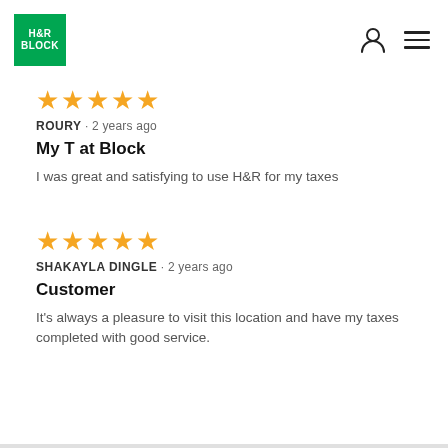H&R BLOCK
★★★★★ ROURY · 2 years ago
My T at Block
I was great and satisfying to use H&R for my taxes
★★★★★ SHAKAYLA DINGLE · 2 years ago
Customer
It's always a pleasure to visit this location and have my taxes completed with good service.